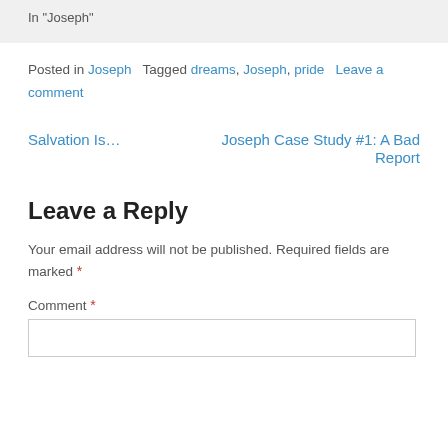In "Joseph"
Posted in Joseph   Tagged dreams, Joseph, pride   Leave a comment
Salvation Is...
Joseph Case Study #1: A Bad Report
Leave a Reply
Your email address will not be published. Required fields are marked *
Comment *